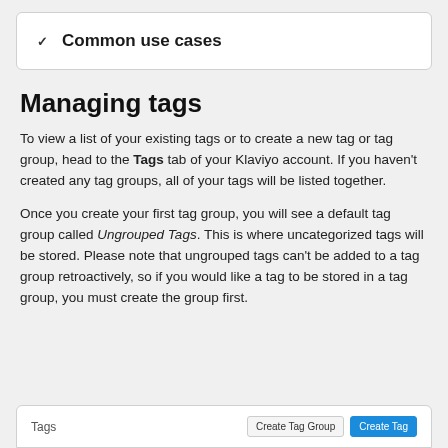Common use cases
Managing tags
To view a list of your existing tags or to create a new tag or tag group, head to the Tags tab of your Klaviyo account. If you haven't created any tag groups, all of your tags will be listed together.
Once you create your first tag group, you will see a default tag group called Ungrouped Tags. This is where uncategorized tags will be stored. Please note that ungrouped tags can't be added to a tag group retroactively, so if you would like a tag to be stored in a tag group, you must create the group first.
[Figure (screenshot): Tags interface bar with 'Create Tag Group' and 'Create Tag' buttons]